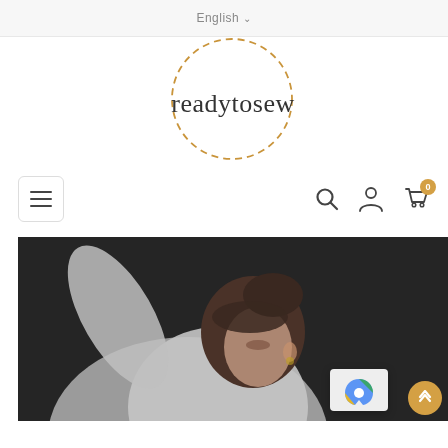English
[Figure (logo): readytosew logo — text 'readytosew' in light serif font inside a dashed orange/tan circle]
[Figure (screenshot): Navigation bar with hamburger menu icon on left, search icon, user account icon, and shopping cart icon with badge '0' on right]
[Figure (photo): Hero image: woman with dark hair in a bun wearing a light gray oversized sweatshirt, photographed against a dark background, face partially turned down]